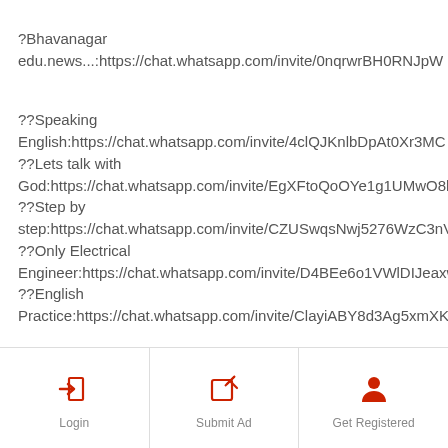?Bhavanagar
edu.news...:https://chat.whatsapp.com/invite/0nqrwrBH0RNJpW
??Speaking English:https://chat.whatsapp.com/invite/4clQJKnlbDpAt0Xr3MC
??Lets talk with God:https://chat.whatsapp.com/invite/EgXFtoQoOYe1g1UMwO8h
??Step by step:https://chat.whatsapp.com/invite/CZUSwqsNwj5276WzC3nV
??Only Electrical Engineer:https://chat.whatsapp.com/invite/D4BEe6o1VWlDIJeaxw
??English Practice:https://chat.whatsapp.com/invite/ClayiABY8d3Ag5xmXK
Login | Submit Ad | Get Registered